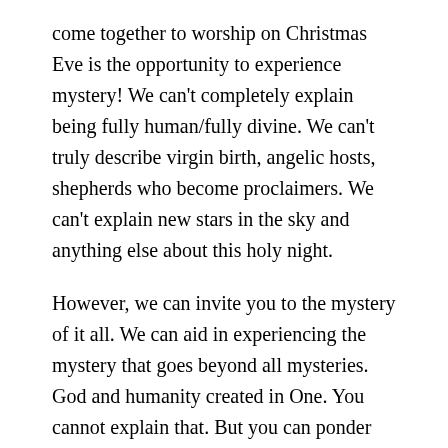come together to worship on Christmas Eve is the opportunity to experience mystery! We can't completely explain being fully human/fully divine. We can't truly describe virgin birth, angelic hosts, shepherds who become proclaimers. We can't explain new stars in the sky and anything else about this holy night.
However, we can invite you to the mystery of it all. We can aid in experiencing the mystery that goes beyond all mysteries. God and humanity created in One. You cannot explain that. But you can ponder the mystery of it.
And if you can ponder it, then perhaps you will decide to also follow that mystery. You can follow like the shepherds did. You can follow the mystery you ponder